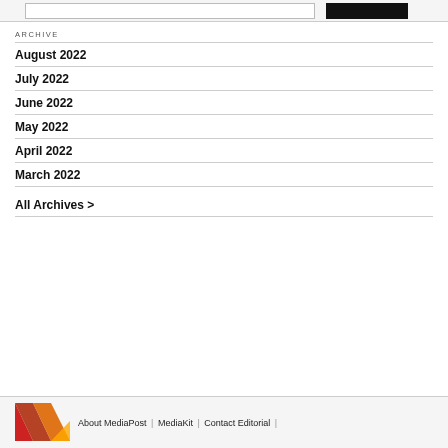ARCHIVE
August 2022
July 2022
June 2022
May 2022
April 2022
March 2022
All Archives >
About MediaPost | MediaKit | Contact Editorial |